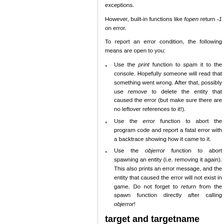exceptions.
However, built-in functions like fopen return -1 on error.
To report an error condition, the following means are open to you:
Use the print function to spam it to the console. Hopefully someone will read that something went wrong. After that, possibly use remove to delete the entity that caused the error (but make sure there are no leftover references to it!).
Use the error function to abort the program code and report a fatal error with a backtrace showing how it came to it.
Use the objerror function to abort spawning an entity (i.e. removing it again). This also prints an error message, and the entity that caused the error will not exist in game. Do not forget to return from the spawn function directly after calling objerror!
target and targetname